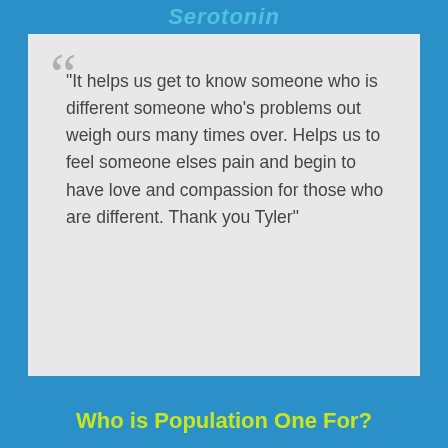Serotonin
"It helps us get to know someone who is different someone who's problems out weigh ours many times over. Helps us to feel someone elses pain and begin to have love and compassion for those who are different. Thank you Tyler"
Who is Population One For?
This book is dedicated to the unique, to those